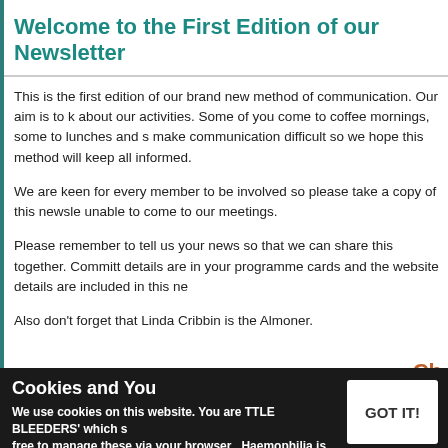Welcome to the First Edition of our Newsletter
This is the first edition of our brand new method of communication. Our aim is to keep you informed about our activities. Some of you come to coffee mornings, some to lunches and some to walks but distances make communication difficult so we hope this method will keep all informed.
We are keen for every member to be involved so please take a copy of this newsletter to any member unable to come to our meetings.
Please remember to tell us your news so that we can share this together. Committee members' details are in your programme cards and the website details are included in this newsletter.
Also don't forget that Linda Cribbin is the Almoner.
Ch
Charitable Giving
Cookies and You
We use cookies on this website. You are free to manage these via your browser settings at any time.
LITTLE BLEEDERS which s... Haemophilia is an inherited b... affecting boys and means that they lack the clotting... and can bleed to death after operations or if injured...